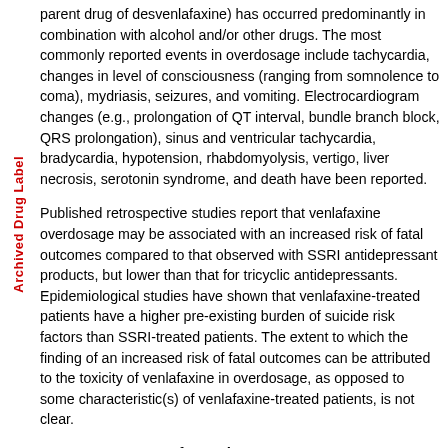parent drug of desvenlafaxine) has occurred predominantly in combination with alcohol and/or other drugs. The most commonly reported events in overdosage include tachycardia, changes in level of consciousness (ranging from somnolence to coma), mydriasis, seizures, and vomiting. Electrocardiogram changes (e.g., prolongation of QT interval, bundle branch block, QRS prolongation), sinus and ventricular tachycardia, bradycardia, hypotension, rhabdomyolysis, vertigo, liver necrosis, serotonin syndrome, and death have been reported.
Published retrospective studies report that venlafaxine overdosage may be associated with an increased risk of fatal outcomes compared to that observed with SSRI antidepressant products, but lower than that for tricyclic antidepressants. Epidemiological studies have shown that venlafaxine-treated patients have a higher pre-existing burden of suicide risk factors than SSRI-treated patients. The extent to which the finding of an increased risk of fatal outcomes can be attributed to the toxicity of venlafaxine in overdosage, as opposed to some characteristic(s) of venlafaxine-treated patients, is not clear.
10.2 Management of Overdosage
No specific antidote for desvenlafaxine overdosage is known.